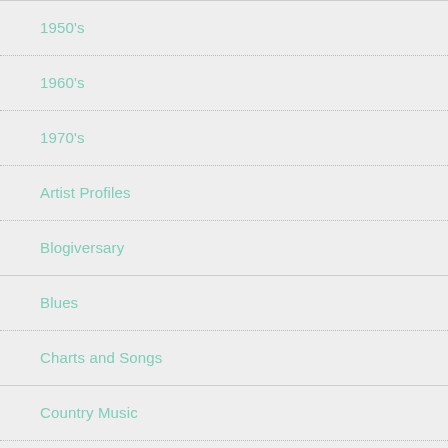1950's
1960's
1970's
Artist Profiles
Blogiversary
Blues
Charts and Songs
Country Music
Cover Songs